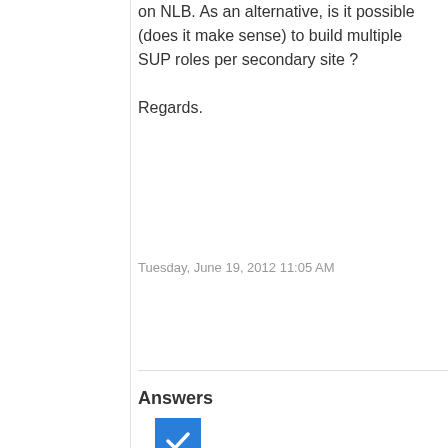on NLB. As an alternative, is it possible (does it make sense) to build multiple SUP roles per secondary site ?
Regards.
Tuesday, June 19, 2012 11:05 AM
Answers
[Figure (other): Blue accepted answer checkmark icon followed by upvote arrow, vote count 0, and sign in to vote link]
Sign in to vote